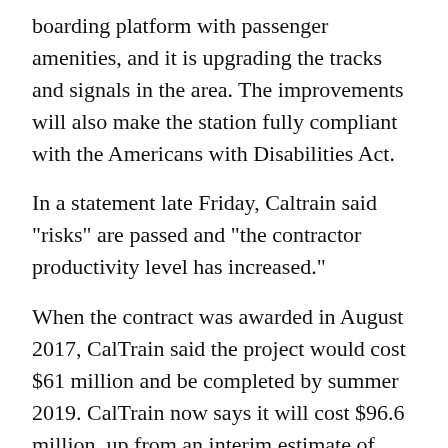boarding platform with passenger amenities, and it is upgrading the tracks and signals in the area. The improvements will also make the station fully compliant with the Americans with Disabilities Act.
In a statement late Friday, Caltrain said "risks" are passed and "the contractor productivity level has increased."
When the contract was awarded in August 2017, CalTrain said the project would cost $61 million and be completed by summer 2019. CalTrain now says it will cost $96.6 million, up from an interim estimate of $71.6 million.
About $23 million of the gap will be filled by San Mateo County Transportation Authority, and another $2 million will come from the city itself, Caltrain said.